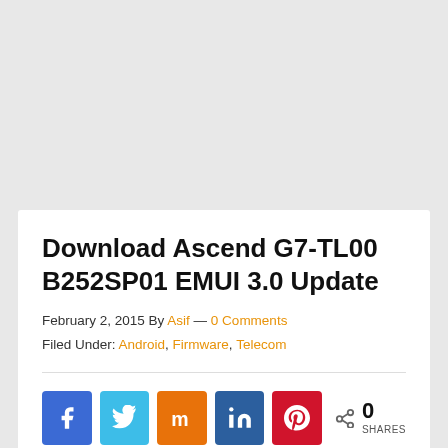Download Ascend G7-TL00 B252SP01 EMUI 3.0 Update
February 2, 2015 By Asif — 0 Comments
Filed Under: Android, Firmware, Telecom
[Figure (infographic): Social sharing buttons: Facebook (blue), Twitter (light blue), StumbleUpon (orange), LinkedIn (dark blue), Pinterest (red), and a share count showing 0 SHARES]